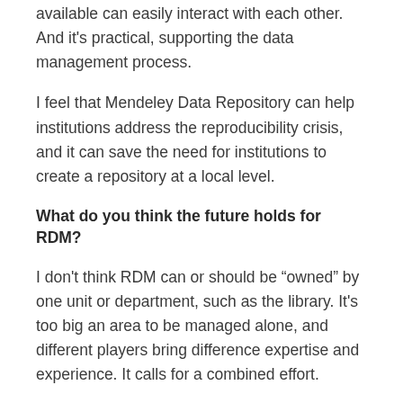available can easily interact with each other. And it's practical, supporting the data management process.
I feel that Mendeley Data Repository can help institutions address the reproducibility crisis, and it can save the need for institutions to create a repository at a local level.
What do you think the future holds for RDM?
I don't think RDM can or should be “ownd” by one unit or department, such as the library. It’s too big an area to be managed alone, and different players bring difference expertise and experience. It calls for a combined effort.
A lot of the questions that I get are in the active